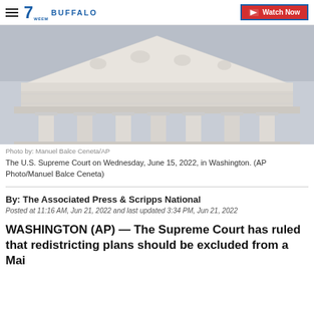7 Buffalo | Watch Now
[Figure (photo): Exterior photo of the U.S. Supreme Court building, showing the classical columns and ornate pediment with sculptural relief, photographed from below against a pale sky.]
Photo by: Manuel Balce Ceneta/AP
The U.S. Supreme Court on Wednesday, June 15, 2022, in Washington. (AP Photo/Manuel Balce Ceneta)
By: The Associated Press & Scripps National
Posted at 11:16 AM, Jun 21, 2022 and last updated 3:34 PM, Jun 21, 2022
WASHINGTON (AP) — The Supreme Court has ruled that redistricting plans should be excluded from a Maine...